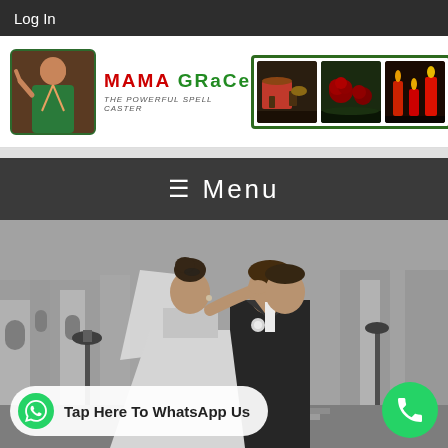Log In
[Figure (logo): Mama Grace The Powerful Spell Caster logo with portrait and text, plus three decorative images on the right showing ritual items and candles]
≡ Menu
[Figure (photo): Black and white romantic photo of a bride and groom in a Venetian setting, woman touching man's face, both in wedding attire]
Tap Here To WhatsApp Us